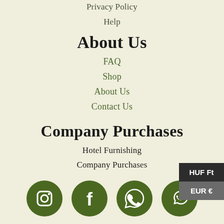Privacy Policy
Help
About Us
FAQ
Shop
About Us
Contact Us
Company Purchases
Hotel Furnishing
Company Purchases
[Figure (illustration): Four dark green circular social media icons: Instagram, Facebook, WhatsApp, Viber]
HUF Ft
EUR €